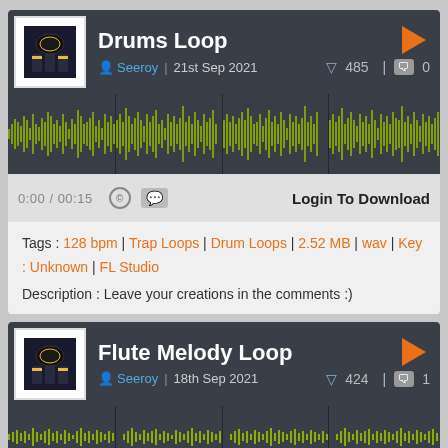Drums Loop
Seeroy | 21st Sep 2021  ▽ 485  🗨 0
[Figure (other): Audio waveform visualization for Drums Loop, olive/yellow-green colored waveform on dark background]
0:00 / 00:15  © 💬  Login To Download
Tags : 128 bpm | Trap Loops | Drum Loops | 2.52 MB | wav | Key : Unknown | FL Studio
Description : Leave your creations in the comments :)
Flute Melody Loop
Seeroy | 18th Sep 2021  ▽ 424  🗨 1
[Figure (other): Audio waveform visualization for Flute Melody Loop, olive/yellow-green colored waveform on dark background]